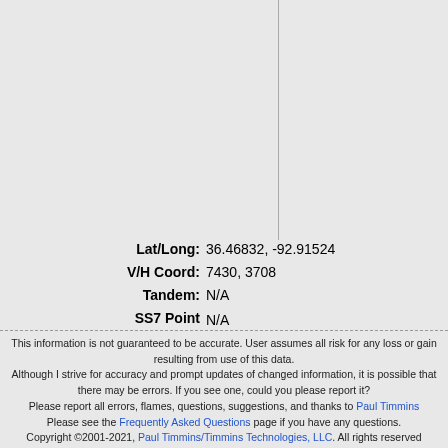[Figure (other): Vertical gray line dividing the upper portion of the page into two columns]
Lat/Long: 36.46832, -92.91524
V/H Coord: 7430, 3708
Tandem: N/A
SS7 Point Code: N/A
Served Exchanges: N/A
Served Rate Centers: N/A
Served Companies: N/A
This information is not guaranteed to be accurate. User assumes all risk for any loss or gain resulting from use of this data.
Although I strive for accuracy and prompt updates of changed information, it is possible that there may be errors. If you see one, could you please report it?
Please report all errors, flames, questions, suggestions, and thanks to Paul Timmins
Please see the Frequently Asked Questions page if you have any questions.
Copyright ©2001-2021, Paul Timmins/Timmins Technologies, LLC. All rights reserved